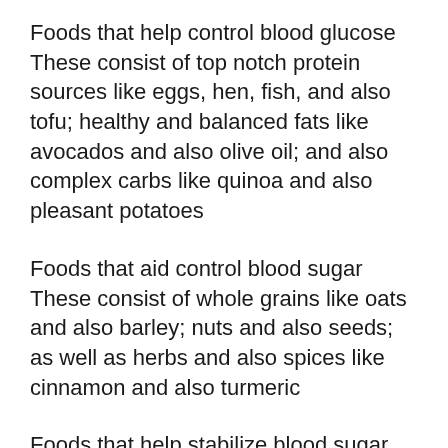Foods that help control blood glucose These consist of top notch protein sources like eggs, hen, fish, and also tofu; healthy and balanced fats like avocados and also olive oil; and also complex carbs like quinoa and also pleasant potatoes
Foods that aid control blood sugar These consist of whole grains like oats and also barley; nuts and also seeds; as well as herbs and also spices like cinnamon and also turmeric
Foods that help stabilize blood sugar level These include lean protein sources like turkey breast or whitefish; starchy veggies like peas or corn; low-glycemic fruits like apples or berries; as well as milk products